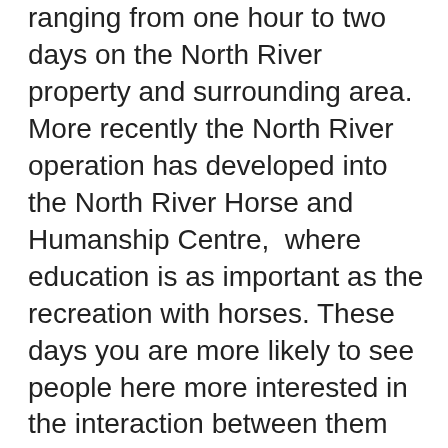ranging from one hour to two days on the North River property and surrounding area. More recently the North River operation has developed into the North River Horse and Humanship Centre,  where education is as important as the recreation with horses. These days you are more likely to see people here more interested in the interaction between them and the horse and learning about themselves from that, rather than just learning to ride or going for a ride. More and more overseas visitors are coming to Noth River Horse & Humanship Centre, who are interested in an intensive time here, to play with horses and discover themselves and enjoy the stunning nature from horse back as part of their North River experience. Other people that come now are just as likely to be a business leader or a team, a school group, a